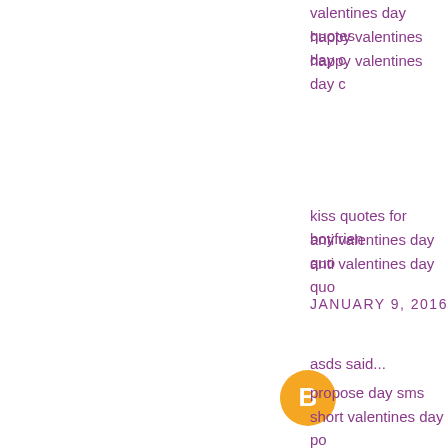valentines day quotes
happy valentines day c
happy valentines day c
kiss quotes for boyfrien
anti valentines day quo
anti valentines day quo
JANUARY 9, 2016
asds said...
[Figure (logo): Orange circle Blogger avatar icon]
propose day sms
short valentines day po
valentines day poems f
valentines day poems f
Happy Rose Day Quot
Happy Propose Day Sh
Valentines Day Quotes